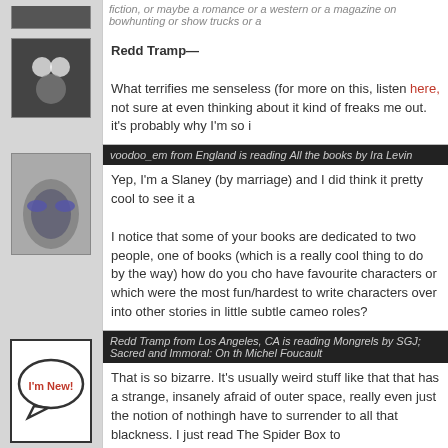fiction, or maybe a romance or a western or a magazine on bowhunting or show trucks or a
[Figure (photo): User avatar: small animal/cat photo]
Redd Tramp—
What terrifies me senseless (for more on this, listen here, not sure at even thinking about it kind of freaks me out. it's probably why I'm so
[Figure (photo): User avatar: shoes on pebbles]
voodoo_em from England is reading All the books by Ira Levin
Yep, I'm a Slaney (by marriage) and I did think it pretty cool to see it
I notice that some of your books are dedicated to two people, one of books (which is a really cool thing to do by the way) how do you cho have favourite characters or which were the most fun/hardest to write characters over into other stories in little subtle cameo roles?
[Figure (illustration): I'm New! speech bubble badge avatar]
Redd Tramp from Los Angeles, CA is reading Mongrels by SGJ; Sacred and Immoral: On the Michel Foucault
That is so bizarre. It's usually weird stuff like that that has a strange, insanely afraid of outer space, really even just the notion of nothing have to surrender to all that blackness. I just read The Spider Box to